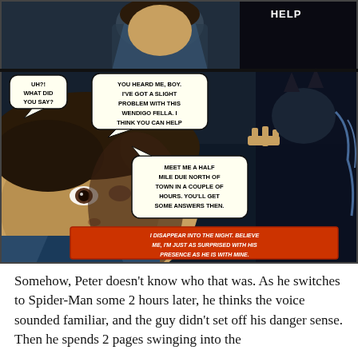[Figure (illustration): Comic book page panels showing Peter Parker (Spider-Man out of costume) being approached by Wolverine in shadows. Peter looks startled. Speech bubbles: 'UH?! WHAT DID YOU SAY?' / 'YOU HEARD ME, BOY. I'VE GOT A SLIGHT PROBLEM WITH THIS WENDIGO FELLA. I THINK YOU CAN HELP' / 'MEET ME A HALF MILE DUE NORTH OF TOWN IN A COUPLE OF HOURS. YOU'LL GET SOME ANSWERS THEN.' Narrator caption in red box: 'I DISAPPEAR INTO THE NIGHT. BELIEVE ME, I'M JUST AS SURPRISED WITH HIS PRESENCE AS HE IS WITH MINE.']
Somehow, Peter doesn't know who that was. As he switches to Spider-Man some 2 hours later, he thinks the voice sounded familiar, and the guy didn't set off his danger sense. Then he spends 2 pages swinging into the